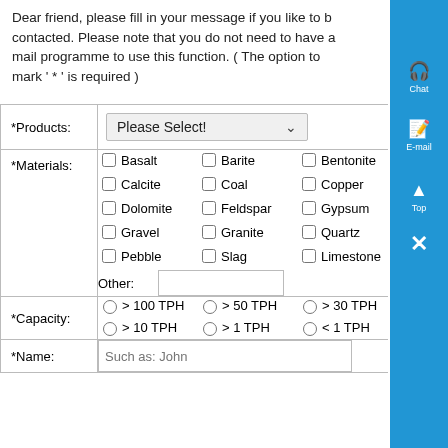Dear friend, please fill in your message if you like to be contacted. Please note that you do not need to have a mail programme to use this function. ( The option to mark ' * ' is required )
| Field | Value |
| --- | --- |
| *Products: | Please Select! |
| *Materials: | Basalt, Barite, Bentonite, Calcite, Coal, Copper, Dolomite, Feldspar, Gypsum, Gravel, Granite, Quartz, Pebble, Slag, Limestone, Other: |
| *Capacity: | > 100 TPH, > 50 TPH, > 30 TPH, > 10 TPH, > 1 TPH, < 1 TPH |
| *Name: | Such as: John |